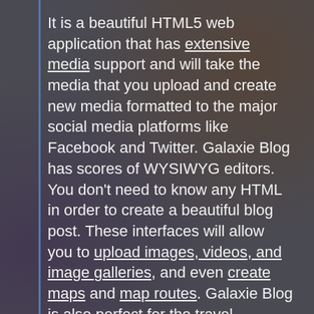It is a beautiful HTML5 web application that has extensive media support and will take the media that you upload and create new media formatted to the major social media platforms like Facebook and Twitter. Galaxie Blog has scores of WYSIWYG editors. You don't need to know any HTML in order to create a beautiful blog post. These interfaces will allow you to upload images, videos, and image galleries, and even create maps and map routes. Galaxie Blog is also perfect for the travel blogger- it offers comprehensive tools to generate and share various types of maps that are free of charge.
Galaxie Blog is eminently themeable. The blog has nearly 30 different pre-built themes and you can develop your own theme within a few minutes and unique fonts can be applied to any theme.
Galaxie Blog has extensive SEO features to